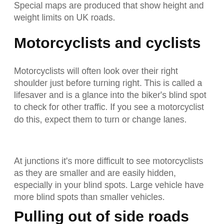Special maps are produced that show height and weight limits on UK roads.
Motorcyclists and cyclists
Motorcyclists will often look over their right shoulder just before turning right. This is called a lifesaver and is a glance into the biker's blind spot to check for other traffic. If you see a motorcyclist do this, expect them to turn or change lanes.
At junctions it's more difficult to see motorcyclists as they are smaller and are easily hidden, especially in your blind spots. Large vehicle have more blind spots than smaller vehicles.
Pulling out of side roads and